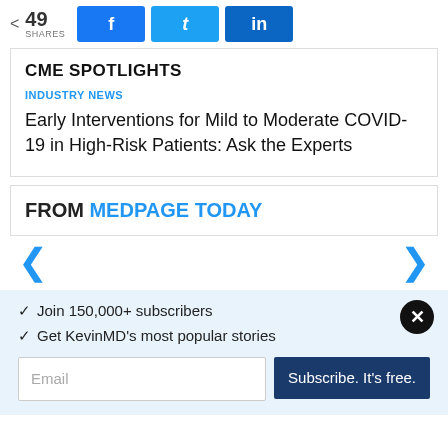< 49 SHARES | f | t | in
CME SPOTLIGHTS
INDUSTRY NEWS
Early Interventions for Mild to Moderate COVID-19 in High-Risk Patients: Ask the Experts
FROM MEDPAGE TODAY
✓  Join 150,000+ subscribers
✓  Get KevinMD's most popular stories
Email | Subscribe. It's free.